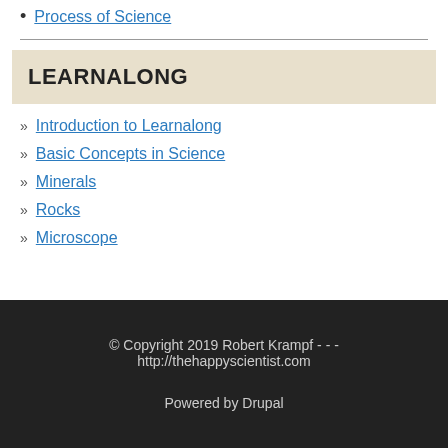Process of Science
LEARNALONG
Introduction to Learnalong
Basic Concepts in Science
Minerals
Rocks
Microscope
© Copyright 2019 Robert Krampf - - - http://thehappyscientist.com
Powered by Drupal